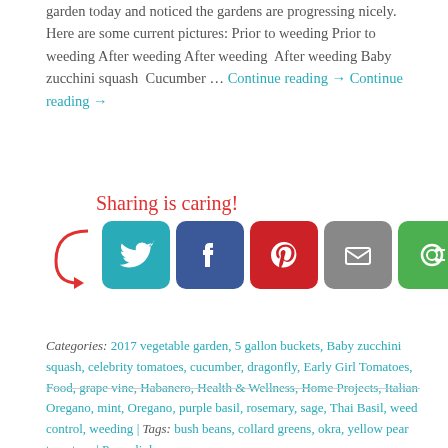garden today and noticed the gardens are progressing nicely. Here are some current pictures: Prior to weeding Prior to weeding After weeding After weeding After weeding Baby zucchini squash Cucumber … Continue reading → Continue reading →
[Figure (infographic): Sharing is caring! social sharing buttons: Twitter, Facebook, Pinterest, Email, ShareThis]
Categories: 2017 vegetable garden, 5 gallon buckets, Baby zucchini squash, celebrity tomatoes, cucumber, dragonfly, Early Girl Tomatoes, Food, grape vine, Habanero, Health & Wellness, Home Projects, Italian Oregano, mint, Oregano, purple basil, rosemary, sage, Thai Basil, weed control, weeding | Tags: bush beans, collard greens, okra, yellow pear tomatoes | Permalink